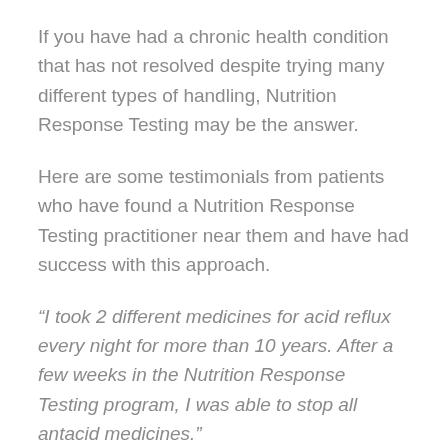If you have had a chronic health condition that has not resolved despite trying many different types of handling, Nutrition Response Testing may be the answer.
Here are some testimonials from patients who have found a Nutrition Response Testing practitioner near them and have had success with this approach.
“I took 2 different medicines for acid reflux every night for more than 10 years. After a few weeks in the Nutrition Response Testing program, I was able to stop all antacid medicines.”